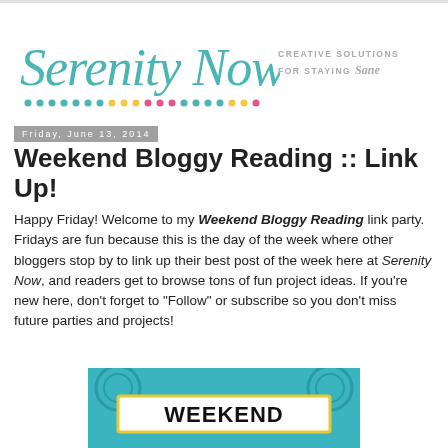[Figure (logo): Serenity Now blog logo with teal script text and colorful dots, tagline: Creative Solutions For Staying Sane]
Friday, June 13, 2014
Weekend Bloggy Reading :: Link Up!
Happy Friday! Welcome to my Weekend Bloggy Reading link party. Fridays are fun because this is the day of the week where other bloggers stop by to link up their best post of the week here at Serenity Now, and readers get to browse tons of fun project ideas. If you're new here, don't forget to "Follow" or subscribe so you don't miss future parties and projects!
[Figure (other): Partial image of a Weekend Bloggy Reading banner/button with teal decorative background and bold black text reading WEEKEND]